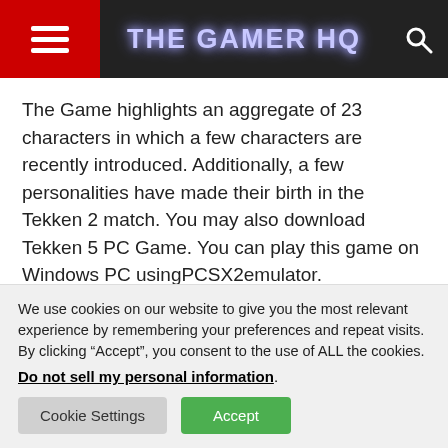THE GAMER HQ
The Game highlights an aggregate of 23 characters in which a few characters are recently introduced. Additionally, a few personalities have made their birth in the Tekken 2 match. You may also download Tekken 5 PC Game. You can play this game on Windows PC usingPCSX2emulator.
Tekken 4 also incorporates a smaller than anticipated game named Tekken Force. At the moment you'll combat wave
We use cookies on our website to give you the most relevant experience by remembering your preferences and repeat visits. By clicking “Accept”, you consent to the use of ALL the cookies.
Do not sell my personal information.